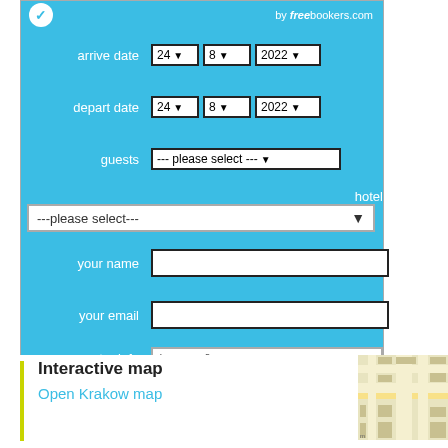[Figure (screenshot): Hotel booking quick quote widget from freebookers.com with form fields for arrive date (24/8/2022), depart date (24/8/2022), guests (please select), hotel (please select), your name, your email, extra info textarea, and best price button.]
Interactive map
Open Krakow map
[Figure (map): Small thumbnail of an interactive map showing Krakow street layout]